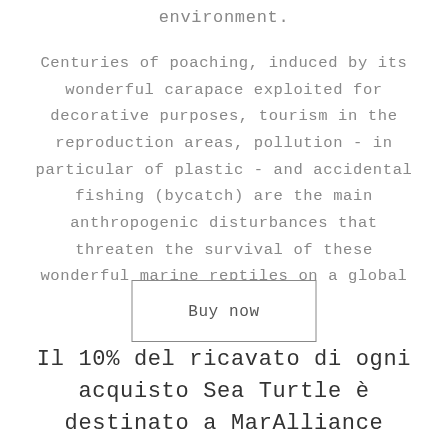environment.
Centuries of poaching, induced by its wonderful carapace exploited for decorative purposes, tourism in the reproduction areas, pollution - in particular of plastic - and accidental fishing (bycatch) are the main anthropogenic disturbances that threaten the survival of these wonderful marine reptiles on a global scale.
Buy now
Il 10% del ricavato di ogni acquisto Sea Turtle è destinato a MarAlliance